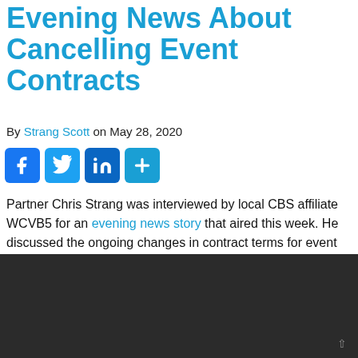Evening News About Cancelling Event Contracts
By Strang Scott on May 28, 2020
[Figure (infographic): Social media share icons: Facebook, Twitter, LinkedIn, and a plus/more button]
Partner Chris Strang was interviewed by local CBS affiliate WCVB5 for an evening news story that aired this week. He discussed the ongoing changes in contract terms for event services in light of the changed conditions resulting from the pandemic.
[Figure (photo): Dark background block, likely a video embed area]